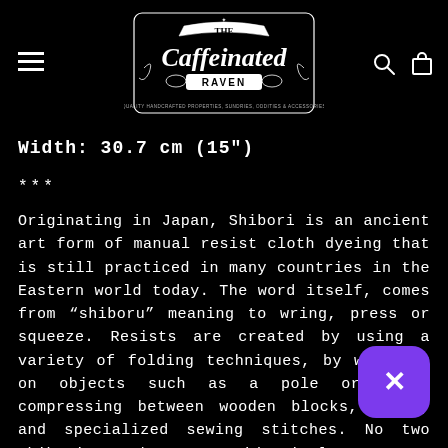[Figure (logo): The Caffeinated Raven logo — decorative gothic/vintage style banner with raven imagery, text 'THE Caffeinated RAVEN', tagline 'QUALITY HANDCRAFTED PROPERTIES, SUNDRIES, ODDITIES & ACCESSORIES']
Width: 30.7 cm (15")
***
Originating in Japan, Shibori is an ancient art form of manual resist cloth dyeing that is still practiced in many countries in the Eastern world today. The word itself, comes from "shiboru" meaning to wring, press or squeeze. Resists are created by using a variety of folding techniques, by wrapping on objects such as a pole or rope, compressing between wooden blocks, tying, and specialized sewing stitches. No two shibori works are identical as any difference in the process can dramatically change the outcome. Each piece of shibori is its own individual work of art.
[Figure (other): Purple rounded rectangle close/dismiss button with white X]